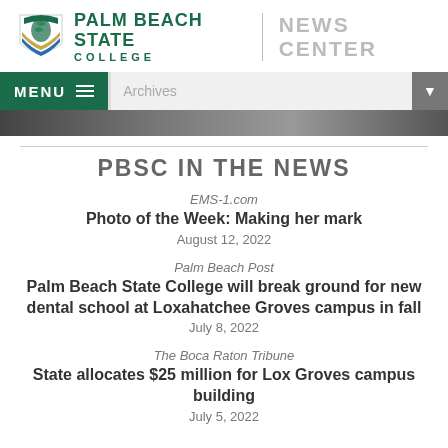Palm Beach State College | News Center
PBSC IN THE NEWS
EMS-1.com | Photo of the Week: Making her mark | August 12, 2022
Palm Beach Post | Palm Beach State College will break ground for new dental school at Loxahatchee Groves campus in fall | July 8, 2022
The Boca Raton Tribune | State allocates $25 million for Lox Groves campus building | July 5, 2022